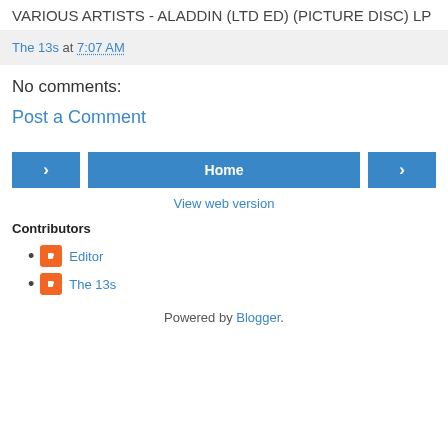VARIOUS ARTISTS -  ALADDIN (LTD ED) (PICTURE DISC) LP
The 13s at 7:07 AM
No comments:
Post a Comment
[Figure (other): Navigation buttons: left arrow, Home, right arrow, and View web version link]
Contributors
Editor
The 13s
Powered by Blogger.